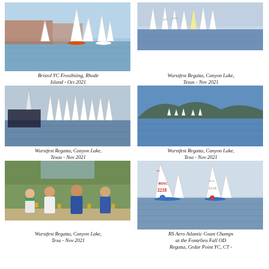[Figure (photo): Sailboats racing on water with red brick building in background - Bristol YC Frostbiting]
[Figure (photo): Multiple sailboats racing on water - Wurstfest Regatta Canyon Lake Texas]
Bristol YC Frostbiting, Rhode Island - Oct 2021
Wurstfest Regatta, Canyon Lake, Texas - Nov 2021
[Figure (photo): Fleet of sailboats racing with large boat on left - Wurstfest Regatta]
[Figure (photo): Wide angle view of sailboats on lake with hills in background - Wurstfest Regatta]
Wurstfest Regatta, Canyon Lake, Texas - Nov 2021
Wurstfest Regatta, Canyon Lake, Texa - Nov 2021
[Figure (photo): Four people standing together holding trophies outdoors - Wurstfest Regatta]
[Figure (photo): RS Aero sailboats racing, close up showing sail numbers 3218 and 3218 - RS Aero Atlantic Coast Champs]
Wurstfest Regatta, Canyon Lake, Texa - Nov 2021
RS Aero Atlantic Coast Champs at the Fontelieu Fall OD Regatta, Cedar Point YC, CT -